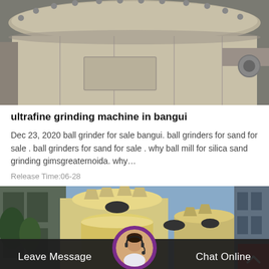[Figure (photo): Industrial ultrafine grinding machine - large circular/cylindrical industrial grinder unit, metallic grey, viewed from above/side, industrial setting]
ultrafine grinding machine in bangui
Dec 23, 2020 ball grinder for sale bangui. ball grinders for sand for sale . ball grinders for sand for sale . why ball mill for silica sand grinding gimsgreaternoida. why…
Release Time:06-28
[Figure (photo): Industrial grinding/milling machines (vertical mill towers) in cream/yellow color outside a building, blue sky background]
Leave Message   Chat Online